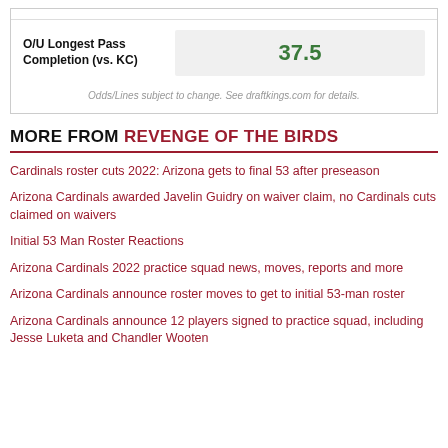| Bet | Line |
| --- | --- |
| O/U Longest Pass Completion (vs. KC) | 37.5 |
Odds/Lines subject to change. See draftkings.com for details.
MORE FROM REVENGE OF THE BIRDS
Cardinals roster cuts 2022: Arizona gets to final 53 after preseason
Arizona Cardinals awarded Javelin Guidry on waiver claim, no Cardinals cuts claimed on waivers
Initial 53 Man Roster Reactions
Arizona Cardinals 2022 practice squad news, moves, reports and more
Arizona Cardinals announce roster moves to get to initial 53-man roster
Arizona Cardinals announce 12 players signed to practice squad, including Jesse Luketa and Chandler Wooten